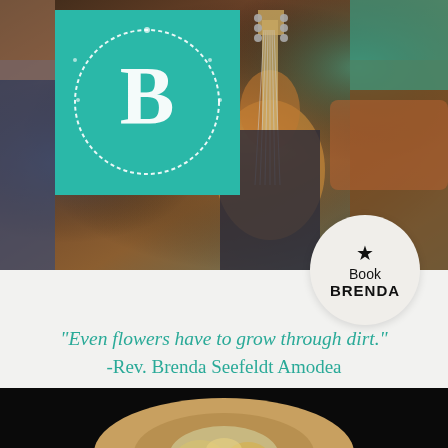[Figure (photo): Top banner photo showing a person playing guitar with others, with a teal/green branded logo box in the upper left corner containing a stylized B with laurel wreath]
[Figure (infographic): Circular button/badge element with a star icon, text 'Book' and 'BRENDA' in bold, on a light beige background]
"Even flowers have to grow through dirt." -Rev. Brenda Seefeldt Amodea
[Figure (photo): Bottom partial photo showing the top of a person's head with blonde hair against dark background]